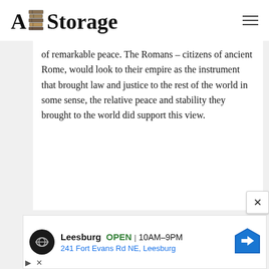[Figure (logo): A1 Storage logo with stacked books/boxes graphic between 'A1' and 'Storage' text]
of remarkable peace. The Romans – citizens of ancient Rome, would look to their empire as the instrument that brought law and justice to the rest of the world in some sense, the relative peace and stability they brought to the world did support this view.
[Figure (screenshot): Advertisement for a store in Leesburg showing OPEN 10AM-9PM, address 241 Fort Evans Rd NE, Leesburg, with circular logo and navigation arrow icon]